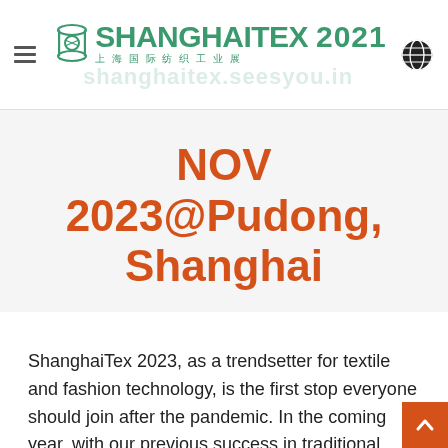ShanghaiTex 2021 — 上海国际纺织工业展 — shanghaitex.seesyou.in
NOV 2023@Pudong, Shanghai
ShanghaiTex 2023, as a trendsetter for textile and fashion technology, is the first stop everyone should join after the pandemic. In the coming year, with our previous success in traditional textile machinery sectors, we will spotlight high-growth markets in the new realities. We are more than excited to join hands with industry pioneers to create an innovative and energetic exchange platform to inspire future for the industry via a number of forums and bu